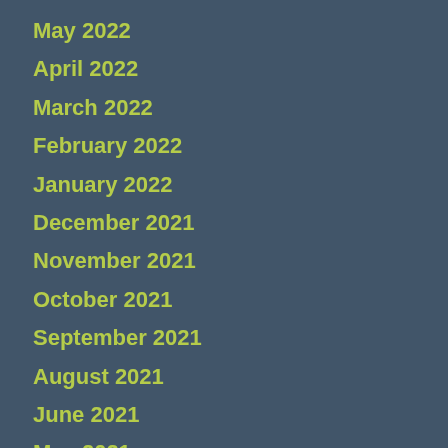May 2022
April 2022
March 2022
February 2022
January 2022
December 2021
November 2021
October 2021
September 2021
August 2021
June 2021
May 2021
April 2021
March 2021